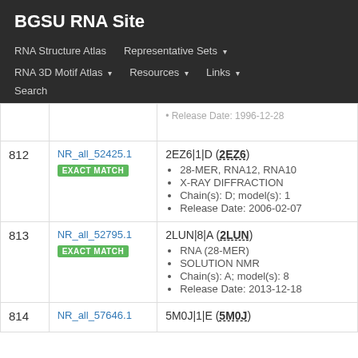BGSU RNA Site
RNA Structure Atlas | Representative Sets ▾ | RNA 3D Motif Atlas ▾ | Resources ▾ | Links ▾ | Search
| # | ID | Details |
| --- | --- | --- |
|  |  | Release Date: 1996-12-28 (partial, cut off) |
| 812 | NR_all_52425.1 EXACT MATCH | 2EZ6|1|D (2EZ6)
28-MER, RNA12, RNA10
X-RAY DIFFRACTION
Chain(s): D; model(s): 1
Release Date: 2006-02-07 |
| 813 | NR_all_52795.1 EXACT MATCH | 2LUN|8|A (2LUN)
RNA (28-MER)
SOLUTION NMR
Chain(s): A; model(s): 8
Release Date: 2013-12-18 |
| 814 | NR_all_57646.1 | 5M0J|1|E (5M0J) |